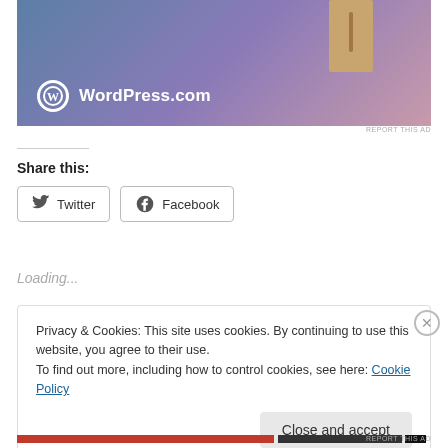[Figure (screenshot): WordPress.com advertisement banner with blue-purple-pink gradient background and a wooden box/block prop. Shows WordPress.com logo (circle W icon) and text 'WordPress.com']
REPORT THIS AD
Share this:
Twitter
Facebook
Loading...
Privacy & Cookies: This site uses cookies. By continuing to use this website, you agree to their use.
To find out more, including how to control cookies, see here: Cookie Policy
Close and accept